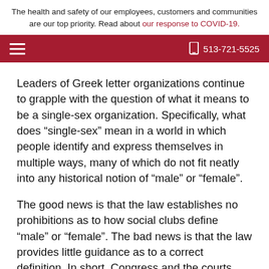The health and safety of our employees, customers and communities are our top priority. Read about our response to COVID-19.
513-721-5525
Leaders of Greek letter organizations continue to grapple with the question of what it means to be a single-sex organization. Specifically, what does “single-sex” mean in a world in which people identify and express themselves in multiple ways, many of which do not fit neatly into any historical notion of “male” or “female”.
The good news is that the law establishes no prohibitions as to how social clubs define “male” or “female”. The bad news is that the law provides little guidance as to a correct definition. In short, Congress and the courts have largely punted the question of what it means to be “male” or “female”.